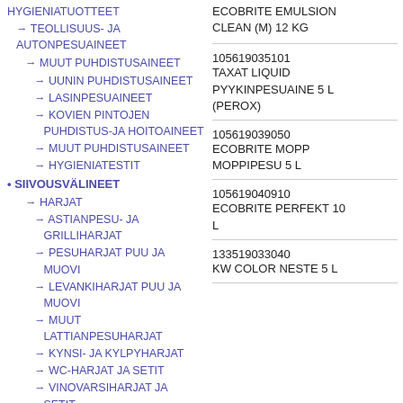HYGIENIATUOTTEET
→ TEOLLISUUS- JA AUTONPESUAINEET
→ MUUT PUHDISTUSAINEET
→ UUNIN PUHDISTUSAINEET
→ LASINPESUAINEET
→ KOVIEN PINTOJEN PUHDISTUS-JA HOITOAINEET
→ MUUT PUHDISTUSAINEET
→ HYGIENIATESTIT
• SIIVOUSVÄLINEET
→ HARJAT
→ ASTIANPESU- JA GRILLIHARJAT
→ PESUHARJAT PUU JA MUOVI
→ LEVANKIHARJAT PUU JA MUOVI
→ MUUT LATTIANPESUHARJAT
→ KYNSI- JA KYLPYHARJAT
→ WC-HARJAT JA SETIT
→ VINOVARSIHARJAT JA SETIT
→ KÄSITOMUHARJAT
ECOBRITE EMULSION CLEAN (M) 12 KG
105619035101
TAXAT LIQUID PYYKINPESUAINE 5 L (PEROX)
105619039050
ECOBRITE MOPP MOPPIPESU 5 L
105619040910
ECOBRITE PERFEKT 10 L
133519033040
KW COLOR NESTE 5 L